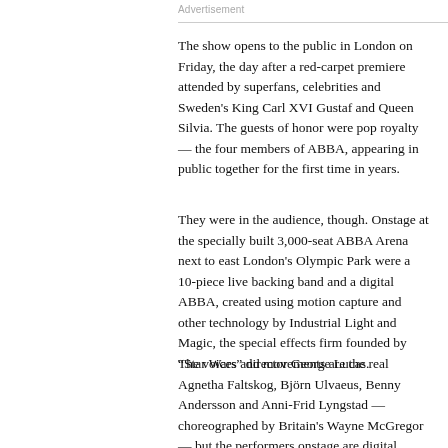Advertisement
The show opens to the public in London on Friday, the day after a red-carpet premiere attended by superfans, celebrities and Sweden's King Carl XVI Gustaf and Queen Silvia. The guests of honor were pop royalty — the four members of ABBA, appearing in public together for the first time in years.
They were in the audience, though. Onstage at the specially built 3,000-seat ABBA Arena next to east London's Olympic Park were a 10-piece live backing band and a digital ABBA, created using motion capture and other technology by Industrial Light and Magic, the special effects firm founded by “Star Wars” director George Lucas.
The voices and movements are the real Agnetha Faltskog, Björn Ulvaeus, Benny Andersson and Anni-Frid Lyngstad — choreographed by Britain's Wayne McGregor — but the performers onstage are digital avatars, inevitably dubbed “ABBA-tars.” In